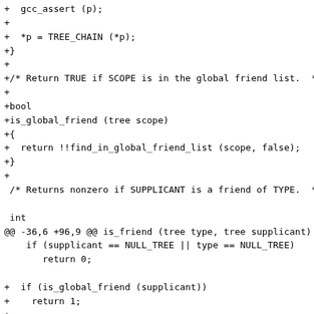Diff/patch code snippet showing changes to gcc/cp source files